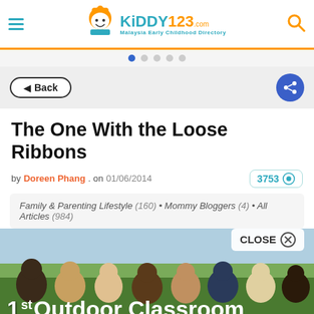Kiddy123 - Malaysia Early Childhood Directory
The One With the Loose Ribbons
by Doreen Phang . on 01/06/2014  3753 views
Family & Parenting Lifestyle (160) • Mommy Bloggers (4) • All Articles (984)
[Figure (photo): Group of diverse smiling children lying in the grass outdoors, with text overlay '1st Outdoor Classroom']